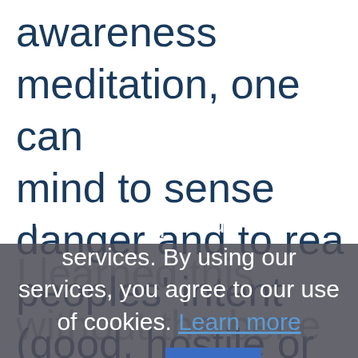awareness meditation, one can mind to sense danger and to rea peoples' intent (good, hostile or
[Figure (screenshot): Cookie consent overlay dialog with dark semi-transparent background. Text reads: 'Cookies help us deliver our services. By using our services, you agree to our use of cookies. Learn more' with a blue hyperlink and an 'OK' button in blue.]